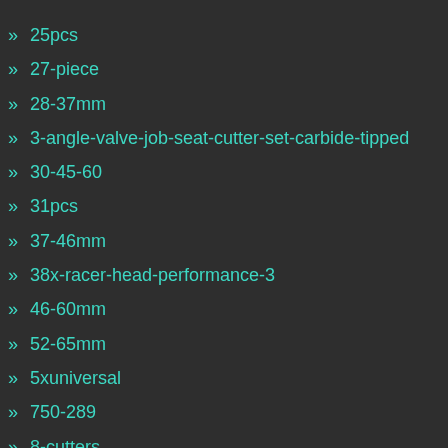25pcs
27-piece
28-37mm
3-angle-valve-job-seat-cutter-set-carbide-tipped
30-45-60
31pcs
37-46mm
38x-racer-head-performance-3
46-60mm
52-65mm
5xuniversal
750-289
8-cutters
acura